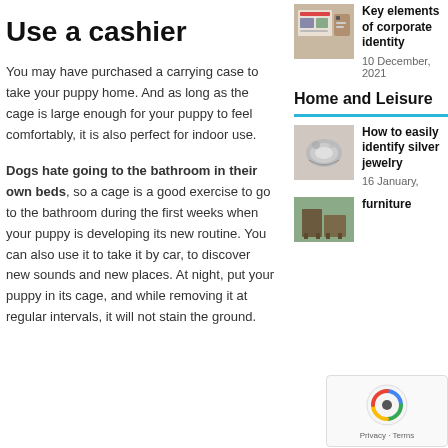Use a cashier
You may have purchased a carrying case to take your puppy home. And as long as the cage is large enough for your puppy to feel comfortably, it is also perfect for indoor use.
Dogs hate going to the bathroom in their own beds, so a cage is a good exercise to go to the bathroom during the first weeks when your puppy is developing its new routine. You can also use it to take it by car, to discover new sounds and new places. At night, put your puppy in its cage, and while removing it at regular intervals, it will not stain the ground.
[Figure (photo): Thumbnail image of corporate identity materials]
Key elements of corporate identity
10 December, 2021
Home and Leisure
[Figure (photo): Thumbnail image of silver jewelry]
How to easily identify silver jewelry
16 January,
[Figure (photo): Thumbnail image of furniture]
furniture